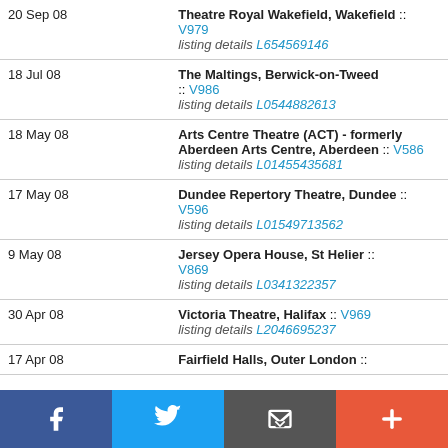| Date | Venue |
| --- | --- |
| 20 Sep 08 | Theatre Royal Wakefield, Wakefield :: V979
listing details L654569146 |
| 18 Jul 08 | The Maltings, Berwick-on-Tweed :: V986
listing details L0544882613 |
| 18 May 08 | Arts Centre Theatre (ACT) - formerly Aberdeen Arts Centre, Aberdeen :: V586
listing details L01455435681 |
| 17 May 08 | Dundee Repertory Theatre, Dundee :: V596
listing details L01549713562 |
| 9 May 08 | Jersey Opera House, St Helier :: V869
listing details L0341322357 |
| 30 Apr 08 | Victoria Theatre, Halifax :: V969
listing details L2046695237 |
| 17 Apr 08 | Fairfield Halls, Outer London :: |
[Figure (infographic): Social sharing bar with Facebook, Twitter, Email, and Plus buttons]